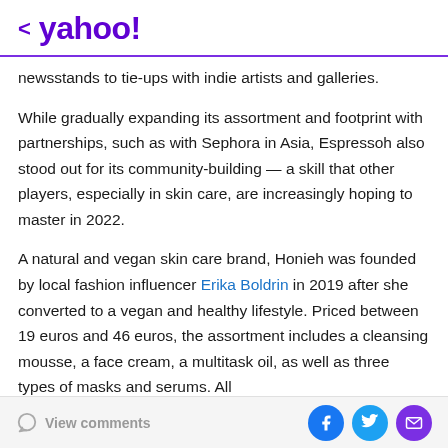< yahoo!
newsstands to tie-ups with indie artists and galleries.
While gradually expanding its assortment and footprint with partnerships, such as with Sephora in Asia, Espressoh also stood out for its community-building — a skill that other players, especially in skin care, are increasingly hoping to master in 2022.
A natural and vegan skin care brand, Honieh was founded by local fashion influencer Erika Boldrin in 2019 after she converted to a vegan and healthy lifestyle. Priced between 19 euros and 46 euros, the assortment includes a cleansing mousse, a face cream, a multitask oil, as well as three types of masks and serums. All
View comments